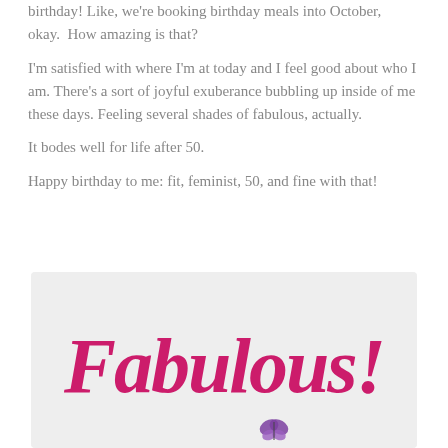birthday! Like, we're booking birthday meals into October, okay.  How amazing is that?
I'm satisfied with where I'm at today and I feel good about who I am. There's a sort of joyful exuberance bubbling up inside of me these days. Feeling several shades of fabulous, actually.
It bodes well for life after 50.
Happy birthday to me: fit, feminist, 50, and fine with that!
[Figure (illustration): Light gray card-like image with the word 'Fabulous!' written in large pink cursive script and a small purple butterfly graphic below.]